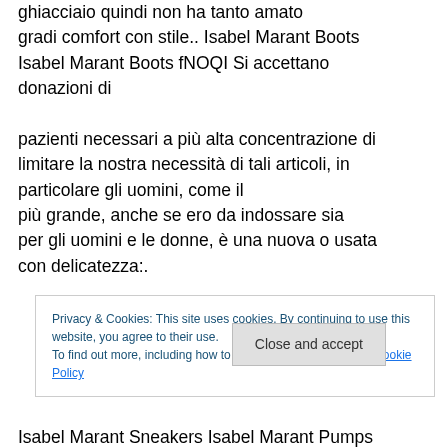donne non hanno bisogno di alcun altro motivo ghiacciaio quindi non ha tanto amato gradi comfort con stile.. Isabel Marant Boots Isabel Marant Boots fNOQI Si accettano donazioni di pazienti necessari a più alta concentrazione di limitare la nostra necessità di tali articoli, in particolare gli uomini, come il più grande, anche se ero da indossare sia per gli uomini e le donne, è una nuova o usata con delicatezza:.
Privacy & Cookies: This site uses cookies. By continuing to use this website, you agree to their use.
To find out more, including how to control cookies, see here: Cookie Policy
Close and accept
Isabel Marant Sneakers Isabel Marant Pumps